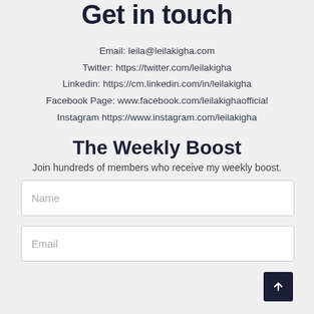Get in touch
Email: leila@leilakigha.com
Twitter: https://twitter.com/leilakigha
Linkedin: https://cm.linkedin.com/in/leilakigha
Facebook Page: www.facebook.com/leilakighaofficial
Instagram https://www.instagram.com/leilakigha
The Weekly Boost
Join hundreds of members who receive my weekly boost.
Name
Email